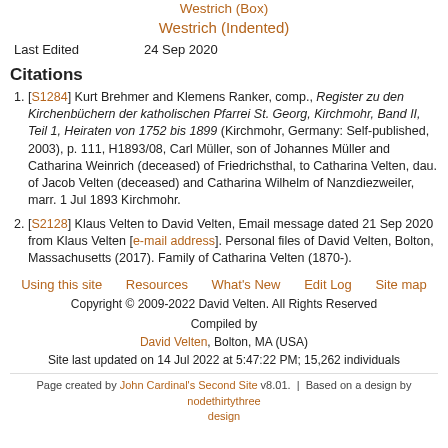Westrich (Box)
Westrich (Indented)
Last Edited   24 Sep 2020
Citations
[S1284] Kurt Brehmer and Klemens Ranker, comp., Register zu den Kirchenbüchern der katholischen Pfarrei St. Georg, Kirchmohr, Band II, Teil 1, Heiraten von 1752 bis 1899 (Kirchmohr, Germany: Self-published, 2003), p. 111, H1893/08, Carl Müller, son of Johannes Müller and Catharina Weinrich (deceased) of Friedrichsthal, to Catharina Velten, dau. of Jacob Velten (deceased) and Catharina Wilhelm of Nanzdiezweiler, marr. 1 Jul 1893 Kirchmohr.
[S2128] Klaus Velten to David Velten, Email message dated 21 Sep 2020 from Klaus Velten [e-mail address]. Personal files of David Velten, Bolton, Massachusetts (2017). Family of Catharina Velten (1870-).
Using this site   Resources   What's New   Edit Log   Site map
Copyright © 2009-2022 David Velten. All Rights Reserved
Compiled by
David Velten, Bolton, MA (USA)
Site last updated on 14 Jul 2022 at 5:47:22 PM; 15,262 individuals
Page created by John Cardinal's Second Site v8.01.  |  Based on a design by nodethirtythree design